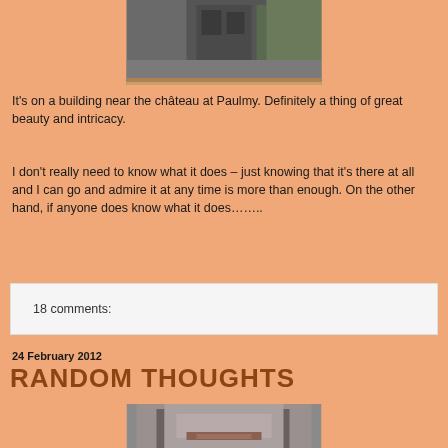[Figure (photo): Top of a dark stone building or chateau with a tree visible in the background]
It's on a building near the château at Paulmy.  Definitely a thing of great beauty and intricacy.
I don't really need to know what it does – just knowing that it's there at all and I can go and admire it at any time is more than enough.  On the other hand, if anyone does know what it does……..
18 comments:
24 February 2012
RANDOM THOUGHTS
[Figure (photo): A stone wall or doorway with decorative stonework, partially visible at bottom of page]